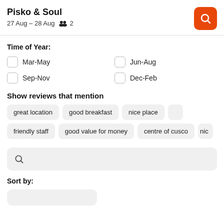Pisko & Soul
27 Aug – 28 Aug  2
Time of Year:
Mar-May
Jun-Aug
Sep-Nov
Dec-Feb
Show reviews that mention
great location
good breakfast
nice place
friendly staff
good value for money
centre of cusco
Sort by: